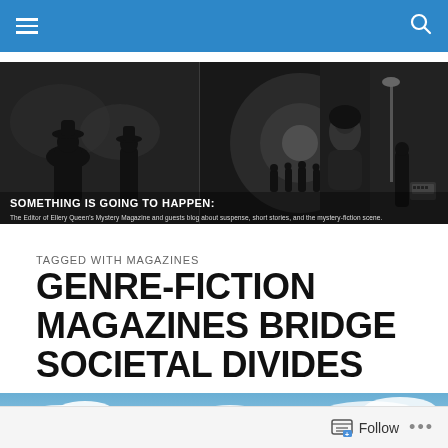Navigation bar with hamburger menu and search icon
[Figure (screenshot): Black and white blog banner image with text 'SOMETHING IS GOING TO HAPPEN: The Editor of Ellery Queen's Mystery Magazine and guests blog about suspense, short stories, and the mystery-fiction scene.' Silhouettes and noir imagery including figures, lamp post, and typewriter.]
TAGGED WITH MAGAZINES
GENRE-FICTION MAGAZINES BRIDGE SOCIETAL DIVIDES
[Figure (photo): Partial view of a blue sky with white clouds.]
Follow ...